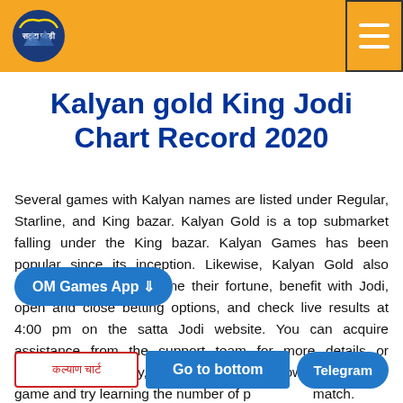[Figure (logo): Satta Jodi logo with Hindi text सट्टा जोड़ी on orange header bar with hamburger menu icon]
Kalyan gold King Jodi Chart Record 2020
Several games with Kalyan names are listed under Regular, Starline, and King bazar. Kalyan Gold is a top submarket falling under the King bazar. Kalyan Games has been popular since its inception. Likewise, Kalyan Gold also excites the public to shine their fortune, benefit with Jodi, open and close betting options, and check live results at 4:00 pm on the satta Jodi website. You can acquire assistance from the support team for more details or services. Additionally, analyse the listed below results of the game and try learning the number of patterns to match.
OM Games App ⇓
कल्याण चार्ट
Go to bottom
Telegram